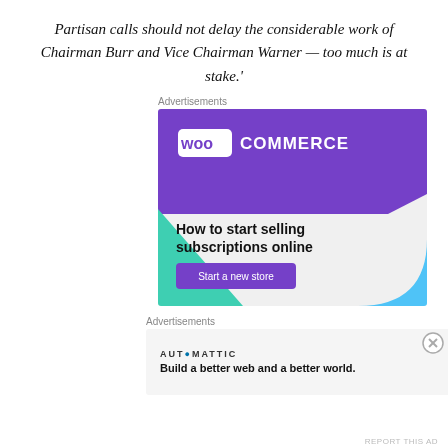Partisan calls should not delay the considerable work of Chairman Burr and Vice Chairman Warner — too much is at stake.'
Advertisements
[Figure (screenshot): WooCommerce advertisement: 'How to start selling subscriptions online' with a 'Start a new store' button, purple and teal design]
Advertisements
[Figure (screenshot): Automattic advertisement: 'Build a better web and a better world.']